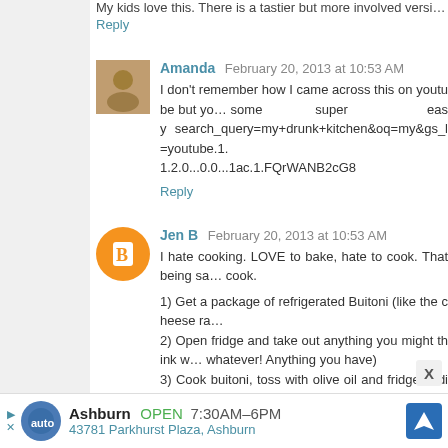My kids love this. There is a tastier but more involved versi…
Reply
Amanda  February 20, 2013 at 10:53 AM
I don't remember how I came across this on youtube but you some super easy search_query=my+drunk+kitchen&oq=my&gs_l=youtube.1.2.0...0.0...1ac.1.FQrWANB2cG8
Reply
Jen B  February 20, 2013 at 10:53 AM
I hate cooking. LOVE to bake, hate to cook. That being said, cook.

1) Get a package of refrigerated Buitoni (like the cheese rav…
2) Open fridge and take out anything you might think w… whatever! Anything you have)
3) Cook buitoni, toss with olive oil and fridge findings (som… but you can sautee them with the oil for a few mins). BAM. peasy.

I make this once a week but vary it up depending on w…
Ashburn  OPEN  7:30AM–6PM
43781 Parkhurst Plaza, Ashburn